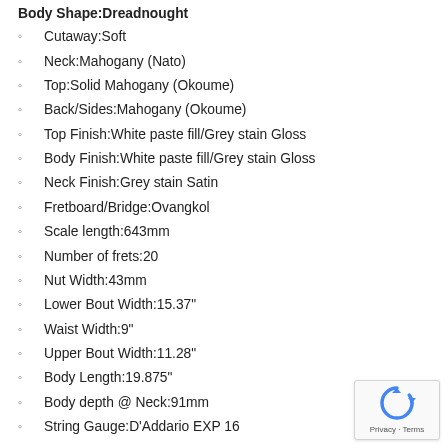Body Shape:Dreadnought (partial, top of page)
Cutaway:Soft
Neck:Mahogany (Nato)
Top:Solid Mahogany (Okoume)
Back/Sides:Mahogany (Okoume)
Top Finish:White paste fill/Grey stain Gloss
Body Finish:White paste fill/Grey stain Gloss
Neck Finish:Grey stain Satin
Fretboard/Bridge:Ovangkol
Scale length:643mm
Number of frets:20
Nut Width:43mm
Lower Bout Width:15.37"
Waist Width:9"
Upper Bout Width:11.28"
Body Length:19.875"
Body depth @ Neck:91mm
String Gauge:D'Addario EXP 16